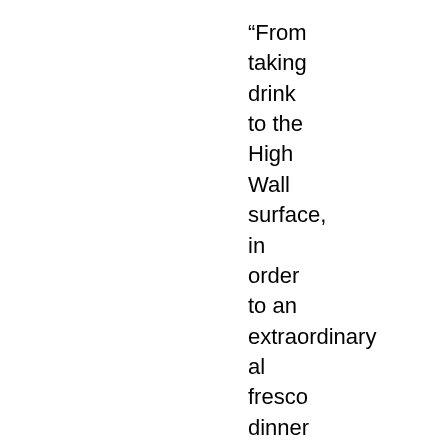“From taking drink to the High Wall surface, in order to an extraordinary al fresco dinner on Ayers Rock that have other traffic, and you can